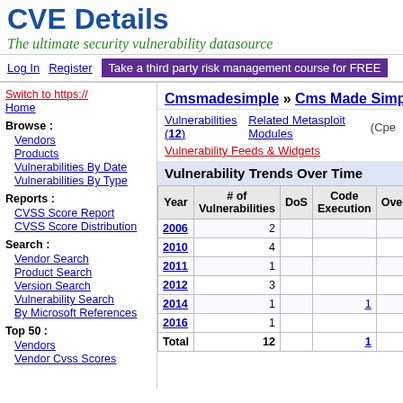CVE Details
The ultimate security vulnerability datasource
Log In  Register  Take a third party risk management course for FREE
Switch to https://
Home
Browse :
Vendors
Products
Vulnerabilities By Date
Vulnerabilities By Type
Reports :
CVSS Score Report
CVSS Score Distribution
Search :
Vendor Search
Product Search
Version Search
Vulnerability Search
By Microsoft References
Top 50 :
Vendors
Vendor Cvss Scores
Cmsmadesimple » Cms Made Simple
Vulnerabilities (12)   Related Metasploit Modules   (Cpe
Vulnerability Feeds & Widgets
Vulnerability Trends Over Time
| Year | # of Vulnerabilities | DoS | Code Execution | Overflow | Memory Corrupt |
| --- | --- | --- | --- | --- | --- |
| 2006 | 2 |  |  |  |  |
| 2010 | 4 |  |  |  |  |
| 2011 | 1 |  |  |  |  |
| 2012 | 3 |  |  |  |  |
| 2014 | 1 |  | 1 |  |  |
| 2016 | 1 |  |  |  |  |
| Total | 12 |  | 1 |  |  |